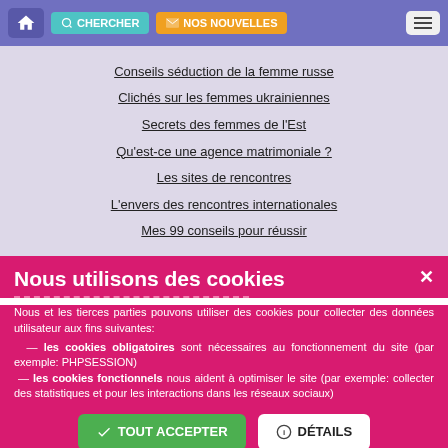CHERCHER | NOS NOUVELLES
Conseils séduction de la femme russe
Clichés sur les femmes ukrainiennes
Secrets des femmes de l'Est
Qu'est-ce une agence matrimoniale ?
Les sites de rencontres
L'envers des rencontres internationales
Mes 99 conseils pour réussir
Nous utilisons des cookies
Nous et les tierces parties pouvons utiliser des cookies pour collecter des données utilisateur aux fins suivantes:
— les cookies obligatoires sont nécessaires au fonctionnement du site (par exemple: PHPSESSION)
— les cookies fonctionnels nous aident à optimiser le site (par exemple: collecter des statistiques et pour les interactions dans les réseaux sociaux)
TOUT ACCEPTER | DÉTAILS